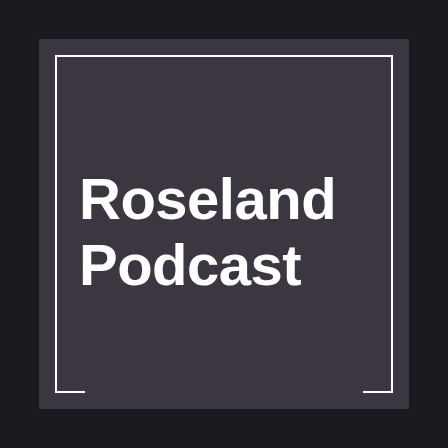[Figure (logo): Roseland Podcast logo: dark purple/grey square background with white bold text reading 'Roseland Podcast' on two lines, with a white rectangular border that has open bottom-left and bottom-right corner bracket cutouts]
Roseland Podcast